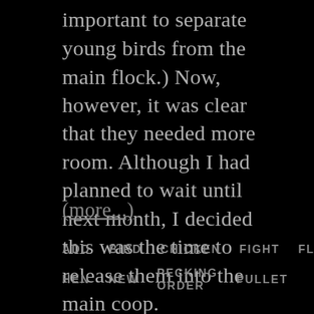important to separate young birds from the main flock.) Now, however, it was clear that they needed more room. Although I had planned to wait until next month, I decided this was the time to release them into the main coop.
(more...)
ADD
BIRD
CHICKEN
FIGHT
FLOCK
HEN
NEW
PECKING ORDER
PULLET